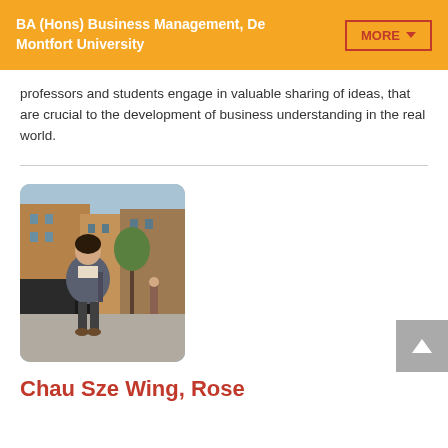BA (Hons) Business Management, De Montfort University
professors and students engage in valuable sharing of ideas, that are crucial to the development of business understanding in the real world.
[Figure (photo): Photo of a young woman standing on a city street with brick buildings in the background]
Chau Sze Wing, Rose